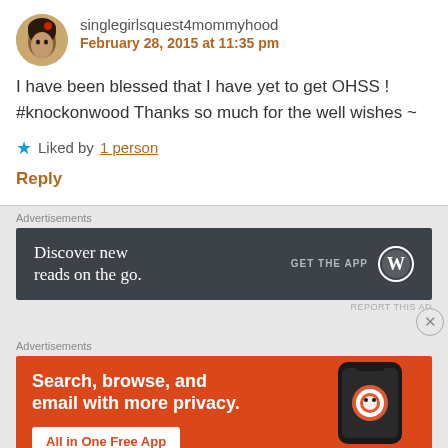singlegirlsquest4mommyhood
February 28, 2015 at 11:35 pm
I have been blessed that I have yet to get OHSS ! #knockonwood Thanks so much for the well wishes ~
Liked by 1 person
Reply
Advertisements
[Figure (screenshot): WordPress app advertisement: dark grey banner with text 'Discover new reads on the go.' and 'GET THE APP' with WordPress logo]
REPORT THIS AD
Advertisements
[Figure (screenshot): DuckDuckGo advertisement: orange banner with text 'Search, browse, and email with more privacy.' and 'All in One Free App' button, phone mockup with DuckDuckGo logo]